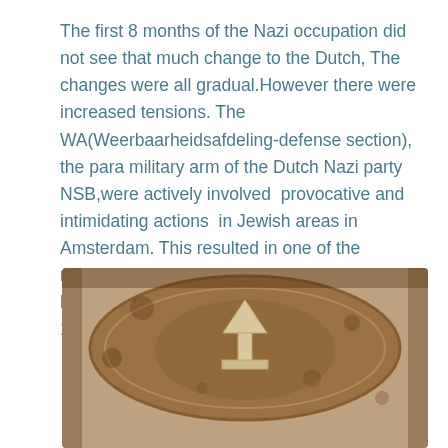The first 8 months of the Nazi occupation did not see that much change to the Dutch, The changes were all gradual.However there were increased tensions. The WA(Weerbaarheidsafdeling-defense section), the para military arm of the Dutch Nazi party NSB,were actively involved  provocative and intimidating actions  in Jewish areas in Amsterdam. This resulted in one of the members of the WA, Hendtik Koot being killed by a local resistance group in Amsterdam on 11 February 1941.
[Figure (photo): A sepia-toned historical photograph showing a circular emblem or badge with a triangular arrow symbol pointing upward, set against a worn brown background.]